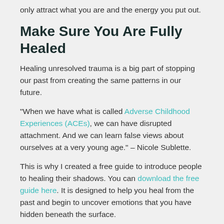only attract what you are and the energy you put out.
Make Sure You Are Fully Healed
Healing unresolved trauma is a big part of stopping our past from creating the same patterns in our future.
"When we have what is called Adverse Childhood Experiences (ACEs), we can have disrupted attachment. And we can learn false views about ourselves at a very young age." – Nicole Sublette.
This is why I created a free guide to introduce people to healing their shadows. You can download the free guide here. It is designed to help you heal from the past and begin to uncover emotions that you have hidden beneath the surface.
My coaching operates from that space of the psychotherapy of Carl Jung. He said, "Until the